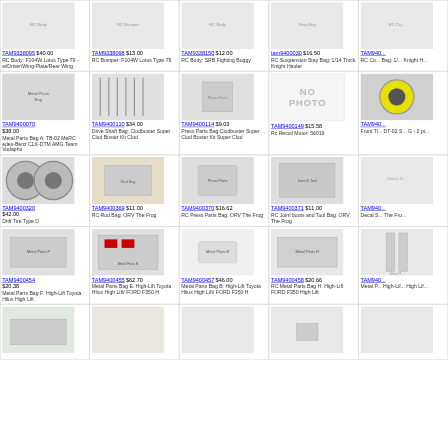| Product |
| --- |
| TAM9338095 $40.00 RC Body: F104W Lotus Type 79 - w/Driver/Wing-Plate/Rear Wing |
| TAM9338098 $13.00 RC Bumper: F104W Lotus Type 79 |
| TAM9338150 $12.00 RC Body: SRB Fighting Buggy |
| tam9400030 $16.50 RC Suspension Stay Bag: 1/14 Truck Knight Hauler |
| TAM940... RC Co... Bag: 1/... Knight H... |
| TAM9400070 $38.00 Metal Parts Bag A: TB-02 MeRC edes-Benz CLK-DTM AMG Team Vodapho |
| TAM9400110 $34.00 Drive Shaft Bag: Clodbuster Super Clod Buster Kit Clod |
| TAM9400114 $9.03 Press Parts Bag:Clodbuster Super Clod Buster Kit Super Clod |
| TAM9400149 $15.58 Rc Recoil Motor: 56019 |
| TAM940... Front Ti... DT-02 S... G - 2 pi... |
| TAM9400320 $42.00 Drift Tire Type D |
| TAM9400369 $11.00 RC Rod Bag: ORV The Frog |
| TAM9400370 $16.62 RC Press Parts Bag: ORV The Frog |
| TAM9400371 $11.00 RC Joint boots and Tool Bag: ORV The Frog |
| TAM940... Decal S... The Fro... |
| TAM9400454 $20.38 Metal Parts Bag F: High-Lift Toyota Hilux High Lift |
| TAM9400455 $62.70 Metal Parts Bag E: High-Lift Toyota Hilux High Lift/ FORD F350 H |
| TAM9400457 $46.00 Metal Parts Bag B: High-Lift Toyota Hilux High Lift/ FORD F350 H |
| TAM9400458 $20.66 RC Metal Parts Bag H: High-Lift FORD F350 High Lift |
| TAM940... Metal P... High-Lif... High Lif... |